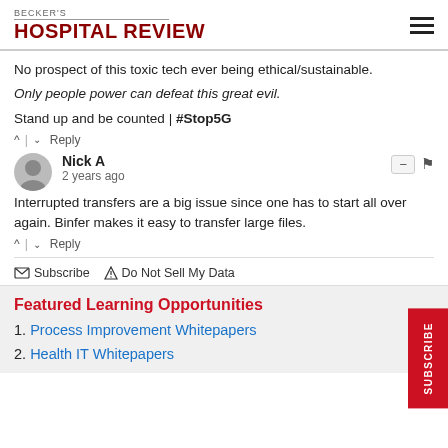BECKER'S HOSPITAL REVIEW
No prospect of this toxic tech ever being ethical/sustainable.
Only people power can defeat this great evil.
Stand up and be counted | #Stop5G
↑ | ↓  Reply
Nick A
2 years ago
Interrupted transfers are a big issue since one has to start all over again. Binfer makes it easy to transfer large files.
↑ | ↓  Reply
✉ Subscribe  ▲ Do Not Sell My Data
Featured Learning Opportunities
1. Process Improvement Whitepapers
2. Health IT Whitepapers